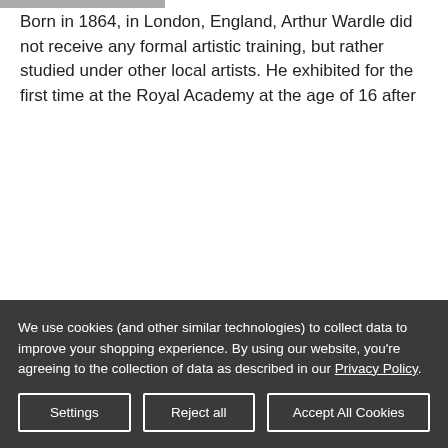Born in 1864, in London, England, Arthur Wardle did not receive any formal artistic training, but rather studied under other local artists. He exhibited for the first time at the Royal Academy at the age of 16 after
Read More
Sort By: Featured Items
We use cookies (and other similar technologies) to collect data to improve your shopping experience. By using our website, you're agreeing to the collection of data as described in our Privacy Policy.
Settings
Reject all
Accept All Cookies